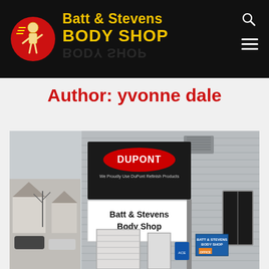Batt & Stevens BODY SHOP
Author: yvonne dale
[Figure (photo): Exterior photo of Batt & Stevens Body Shop building showing a storefront sign with DuPont logo above reading 'Batt & Stevens Body Shop', gray vinyl siding, garage doors, and a small office sign near the entrance.]